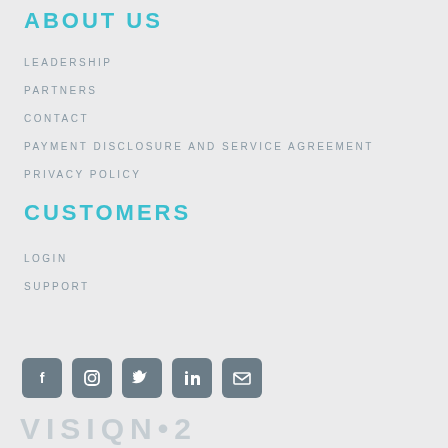ABOUT US
LEADERSHIP
PARTNERS
CONTACT
PAYMENT DISCLOSURE AND SERVICE AGREEMENT
PRIVACY POLICY
CUSTOMERS
LOGIN
SUPPORT
[Figure (other): Social media icons row: Facebook, Instagram, Twitter, LinkedIn, Email]
[Figure (logo): VISION•2 logo in large light gray text]